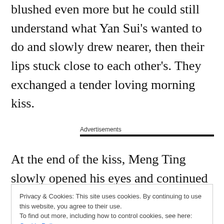blushed even more but he could still understand what Yan Sui's wanted to do and slowly drew nearer, then their lips stuck close to each other's. They exchanged a tender loving morning kiss.
Advertisements
At the end of the kiss, Meng Ting slowly opened his eyes and continued to hold Yan Sui's cheeks with
Privacy & Cookies: This site uses cookies. By continuing to use this website, you agree to their use.
To find out more, including how to control cookies, see here: Cookie Policy
Close and accept